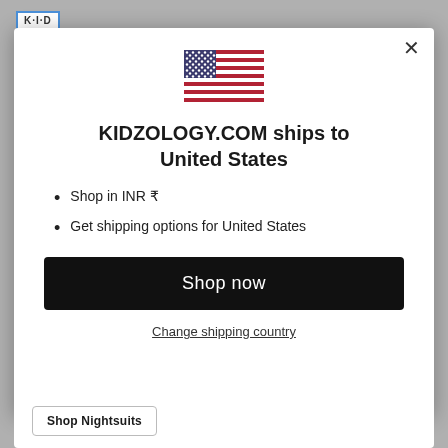[Figure (logo): KID logo box with blue border]
[Figure (illustration): US flag icon - American flag with red and white stripes and blue canton with white stars]
KIDZOLOGY.COM ships to United States
Shop in INR ₹
Get shipping options for United States
Shop now
Change shipping country
Shop Nightsuits